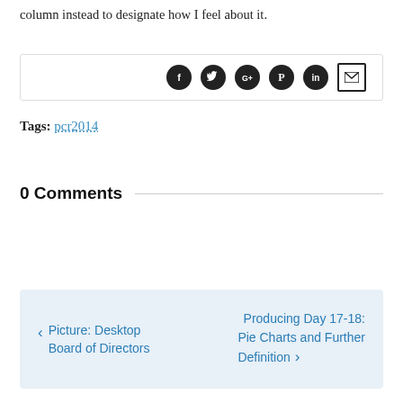column instead to designate how I feel about it.
[Figure (other): Social share bar with icons for Facebook, Twitter, Google+, Pinterest, LinkedIn, and Email]
Tags: pcr2014
0 Comments
< Picture: Desktop Board of Directors   Producing Day 17-18: Pie Charts and Further Definition >